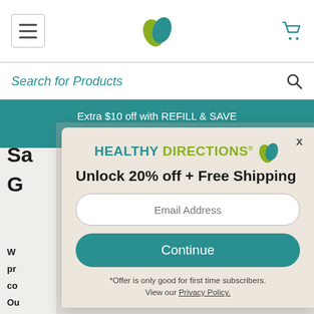[Figure (screenshot): Healthy Directions e-commerce website screenshot with navigation bar, search bar, promo banner, and a modal popup offering 20% off and free shipping for email signup.]
Healthy Directions website navigation bar with hamburger menu, leaf logo, and cart icon
Search for Products
Extra $10 off with REFILL & SAVE Promo Code RS10 | Learn More
Sa... G...
W... pr... co... Ou... Ph... us... sa...
Unlock 20% off + Free Shipping
Email Address
Continue
*Offer is only good for first time subscribers.
View our Privacy Policy.